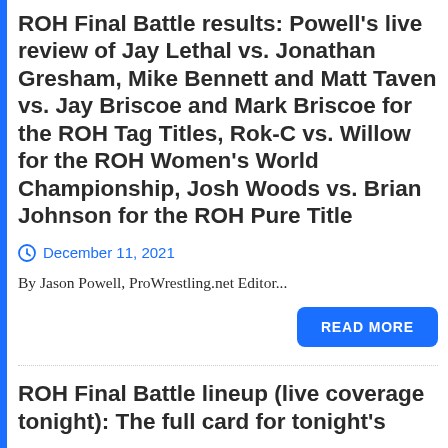ROH Final Battle results: Powell's live review of Jay Lethal vs. Jonathan Gresham, Mike Bennett and Matt Taven vs. Jay Briscoe and Mark Briscoe for the ROH Tag Titles, Rok-C vs. Willow for the ROH Women's World Championship, Josh Woods vs. Brian Johnson for the ROH Pure Title
December 11, 2021
By Jason Powell, ProWrestling.net Editor...
READ MORE
ROH Final Battle lineup (live coverage tonight): The full card for tonight's